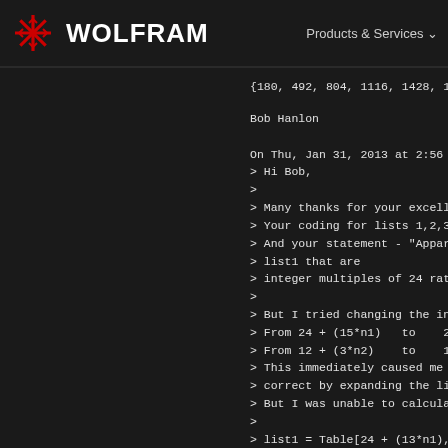WOLFRAM    Products & Services
{180, 492, 804, 1116, 1428, 1740}
Bob Hanlon
On Thu, Jan 31, 2013 at 2:56 AM, L
> Hi Bob,
>
> Many thanks for your excellent r
> Your coding for lists 1,2,3 is e
> And your statement - "Apparently
> list1 that are
> integer multiples of 24 rather t
>
> But I tried changing the input v
> From 24 + (15*n1)   to    24 + (
> From 12 + (3*n2)    to    12 +
> This immediately caused me error
> correct by expanding the list ra
> But I was unable to calculate th
>
> list1 = Table[24 + (13*n1), {n1,
> list2 = Take[Select[list1, Integ
> list3 = n2 /.
>      Solve[{12 + (7*n2) == #, Ele
> list0